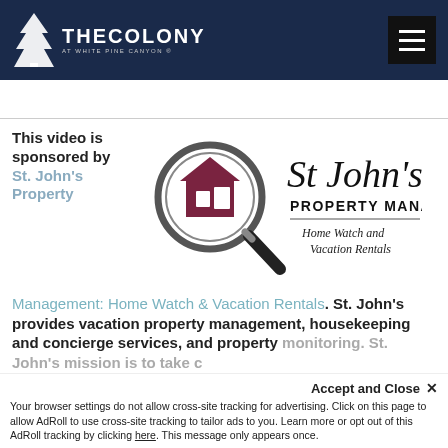THE COLONY AT WHITE PINE CANYON
This video is sponsored by St. John's Property Management: Home Watch & Vacation Rentals. St. John's provides vacation property management, housekeeping and concierge services, and property monitoring. St. John's mission is to take c…
[Figure (logo): St. John's Property Management logo with magnifying glass over a house icon, text reads: St John's PROPERTY MANAGEMENT Home Watch and Vacation Rentals]
Accept and Close ✕ Your browser settings do not allow cross-site tracking for advertising. Click on this page to allow AdRoll to use cross-site tracking to tailor ads to you. Learn more or opt out of this AdRoll tracking by clicking here. This message only appears once.